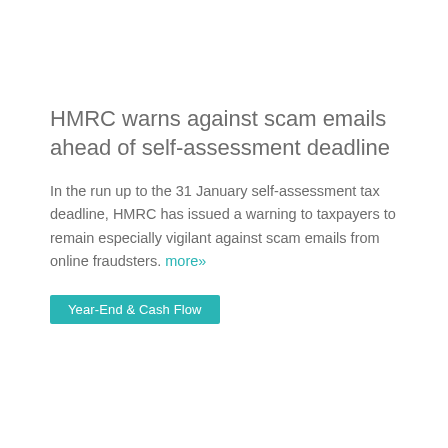HMRC warns against scam emails ahead of self-assessment deadline
In the run up to the 31 January self-assessment tax deadline, HMRC has issued a warning to taxpayers to remain especially vigilant against scam emails from online fraudsters. more»
Year-End & Cash Flow